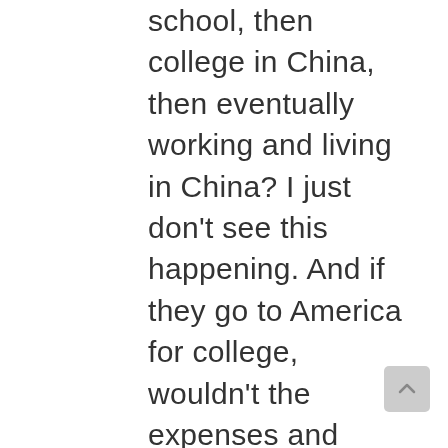school, then college in China, then eventually working and living in China? I just don't see this happening. And if they go to America for college, wouldn't the expenses and practicalities (where would he/she go during the breaks?) be rather onerous to your Chinese-bound and -salaried self? And after college,